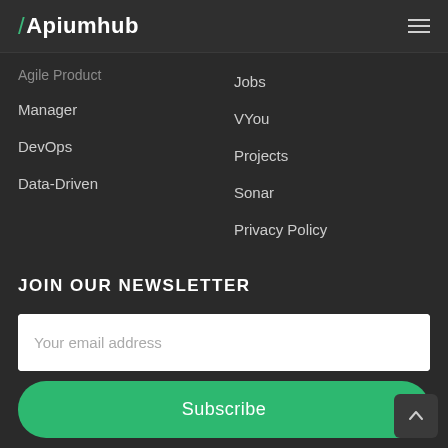Apiumhub
Agile Product
Manager
DevOps
Data-Driven
Jobs
VYou
Projects
Sonar
Privacy Policy
JOIN OUR NEWSLETTER
Your email address
Subscribe